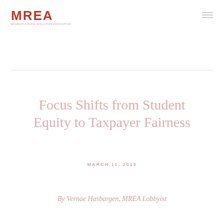[Figure (logo): MREA logo in red with subtitle text below]
Focus Shifts from Student Equity to Taxpayer Fairness
MARCH 11, 2013
By Vernae Hasbargen, MREA Lobbyist